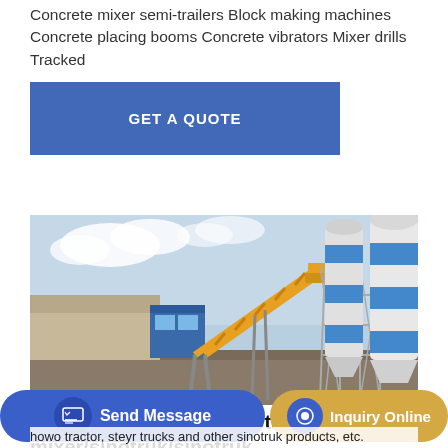Concrete mixer semi-trailers Block making machines Concrete placing booms Concrete vibrators Mixer drills Tracked
GET A QUOTE
[Figure (photo): Industrial concrete batching plant with two large white and blue cylindrical silos, a yellow conveyor belt structure, and a blue control building. Industrial equipment for concrete mixing.]
howo/howo tipper/howo tractor/howo mixer/sinotruk/sinotruk
sell ho
howo tractor, steyr trucks and other sinotruk products, etc.
Send Message
Inquiry Online